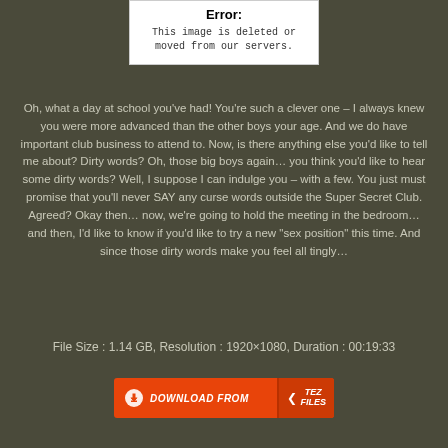[Figure (screenshot): Error box with white background showing 'Error:' in bold and text 'This image is deleted or moved from our servers.']
Oh, what a day at school you’ve had! You’re such a clever one – I always knew you were more advanced than the other boys your age. And we do have important club business to attend to. Now, is there anything else you’d like to tell me about? Dirty words? Oh, those big boys again… you think you’d like to hear some dirty words? Well, I suppose I can indulge you – with a few. You just must promise that you’ll never SAY any curse words outside the Super Secret Club. Agreed? Okay then… now, we’re going to hold the meeting in the bedroom… and then, I’d like to know if you’d like to try a new “sex position” this time. And since those dirty words make you feel all tingly…
File Size : 1.14 GB, Resolution : 1920×1080, Duration : 00:19:33
[Figure (other): Orange download button with arrow icon and text 'DOWNLOAD FROM' on left side, and 'TEZ FILES' logo on right side]